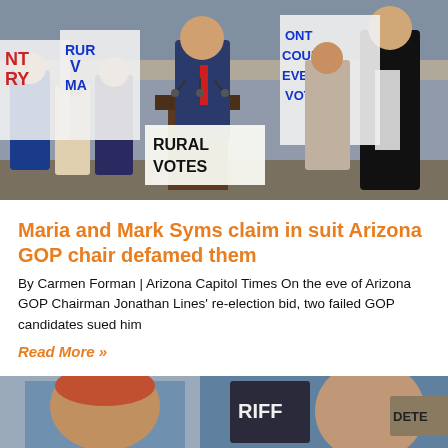[Figure (photo): Outdoor press conference scene showing a man in a suit at a podium with microphones, surrounded by people holding signs reading 'RURAL VOTES', 'COUNT EVERY VOTE', and other protest signs. Another man in a suit stands to the right.]
Maria and Mark Syms claim in suit Arizona GOP chair defamed them
By Carmen Forman | Arizona Capitol Times On the eve of Arizona GOP Chairman Jonathan Lines' re-election bid, two failed GOP candidates sued him
Read More »
[Figure (photo): Partial view of two individuals, one appearing to be in front of a sheriff-related background with text visible including 'RIFF' and 'DETE'.]